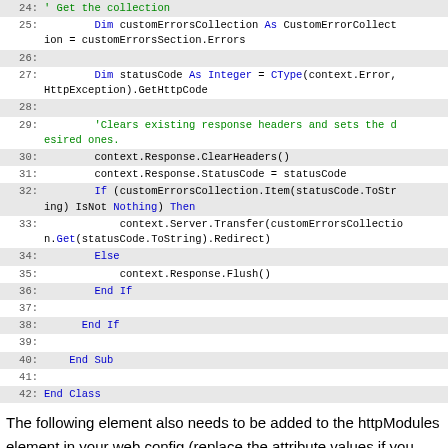[Figure (screenshot): Code block showing VB.NET lines 24-42 of a custom error handler class]
The following element also needs to be added to the httpModules element in your web.config (replace the attribute values if you aren't using the downloaded binary):